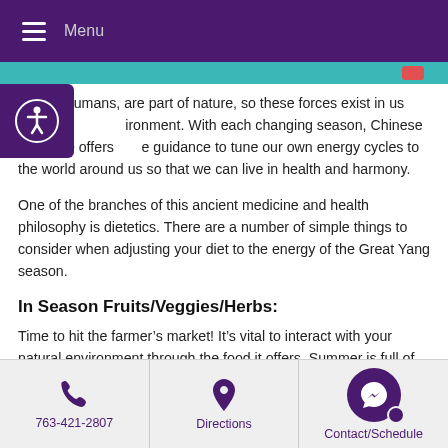Menu
[Figure (other): Teal banner strip with red badge element]
We, as humans, are part of nature, so these forces exist in us just as in our environment. With each changing season, Chinese Medicine offers guidance to tune our own energy cycles to the world around us so that we can live in health and harmony.
One of the branches of this ancient medicine and health philosophy is dietetics. There are a number of simple things to consider when adjusting your diet to the energy of the Great Yang season.
In Season Fruits/Veggies/Herbs:
Time to hit the farmer’s market! It’s vital to interact with your natural environment through the food it offers. Summer is full of fresh fruits, vegetables and herbs that help to keep you hydrated, and to disperse
763-421-2807   Directions   Contact/Schedule